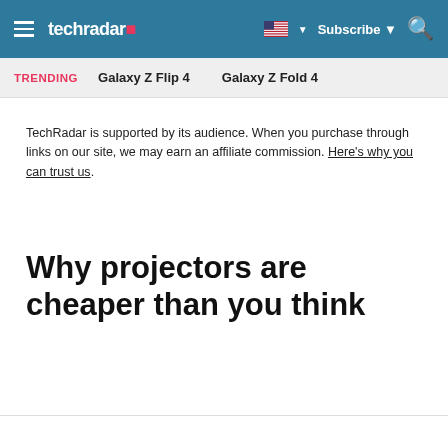techradar
TRENDING   Galaxy Z Flip 4   Galaxy Z Fold 4
TechRadar is supported by its audience. When you purchase through links on our site, we may earn an affiliate commission. Here's why you can trust us.
Why projectors are cheaper than you think